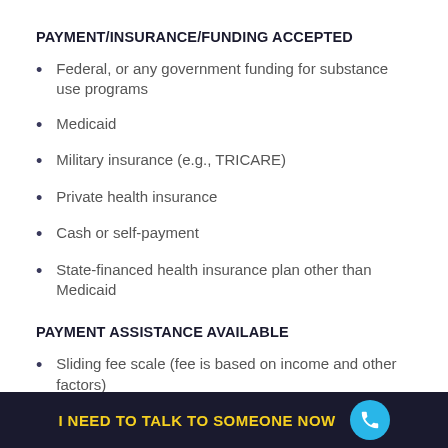PAYMENT/INSURANCE/FUNDING ACCEPTED
Federal, or any government funding for substance use programs
Medicaid
Military insurance (e.g., TRICARE)
Private health insurance
Cash or self-payment
State-financed health insurance plan other than Medicaid
PAYMENT ASSISTANCE AVAILABLE
Sliding fee scale (fee is based on income and other factors)
I NEED TO TALK TO SOMEONE NOW